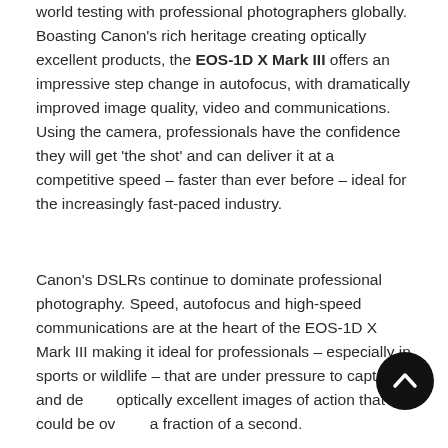world testing with professional photographers globally. Boasting Canon's rich heritage creating optically excellent products, the EOS-1D X Mark III offers an impressive step change in autofocus, with dramatically improved image quality, video and communications. Using the camera, professionals have the confidence they will get 'the shot' and can deliver it at a competitive speed – faster than ever before – ideal for the increasingly fast-paced industry.
Canon's DSLRs continue to dominate professional photography. Speed, autofocus and high-speed communications are at the heart of the EOS-1D X Mark III making it ideal for professionals – especially in sports or wildlife – that are under pressure to capture and deliver optically excellent images of action that could be over in a fraction of a second.